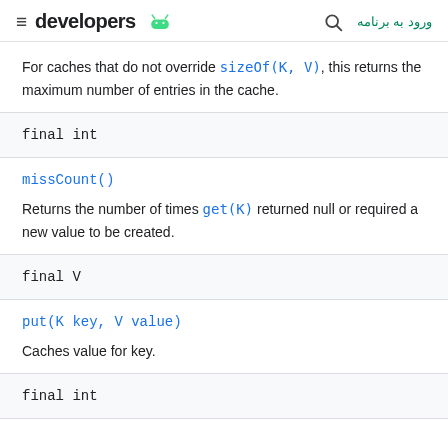developers — ورود به برنامه
For caches that do not override sizeOf(K, V), this returns the maximum number of entries in the cache.
final int
missCount()
Returns the number of times get(K) returned null or required a new value to be created.
final V
put(K key, V value)
Caches value for key.
final int